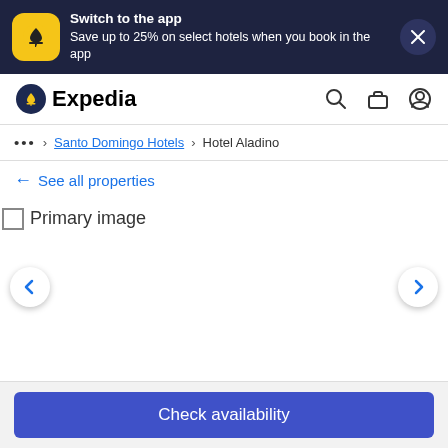[Figure (screenshot): Expedia app promotional banner with yellow airplane icon, text 'Switch to the app / Save up to 25% on select hotels when you book in the app', and close button]
Expedia
... > Santo Domingo Hotels > Hotel Aladino
← See all properties
[Figure (photo): Primary image placeholder for Hotel Aladino]
Check availability